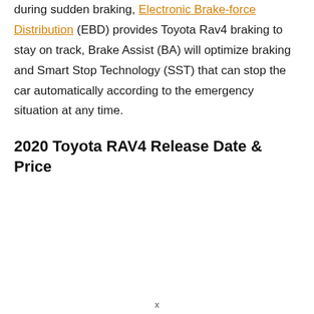during sudden braking, Electronic Brake-force Distribution (EBD) provides Toyota Rav4 braking to stay on track, Brake Assist (BA) will optimize braking and Smart Stop Technology (SST) that can stop the car automatically according to the emergency situation at any time.
2020 Toyota RAV4 Release Date & Price